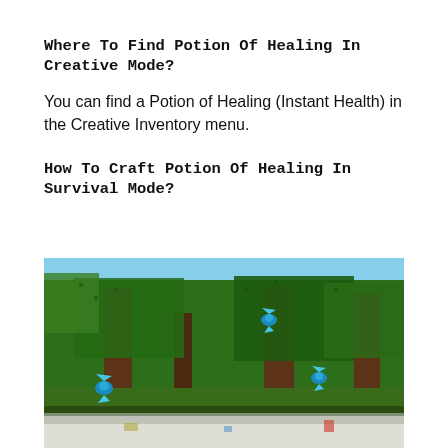Where To Find Potion Of Healing In Creative Mode?
You can find a Potion of Healing (Instant Health) in the Creative Inventory menu.
How To Craft Potion Of Healing In Survival Mode?
[Figure (screenshot): Minecraft screenshot showing a jungle/forest biome with large green leafy trees, brown tree trunks, and parrots (blue/green birds) visible in the scene. The bottom portion shows a faded/lighter area with items on the ground.]